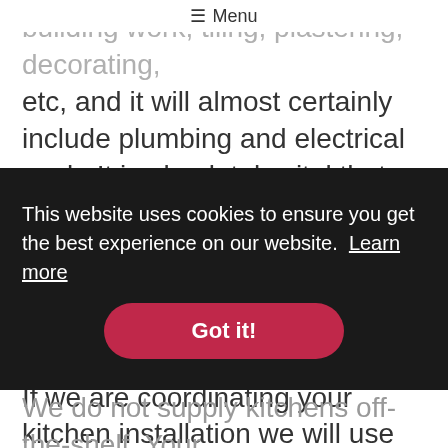☰ Menu
building work, tiling, plastering, decorating, etc, and it will almost certainly include plumbing and electrical work. It is absolutely vital that these works are carried out to the correct standards, especially the electrical work, where serious problems can arise if the work is not certificated. If we are coordinating your kitchen installation we will use qualified and experienced tradespeople. We can also advise the
[Figure (screenshot): Cookie consent banner overlay with dark background reading 'This website uses cookies to ensure you get the best experience on our website. Learn more' and a red 'Got it!' button]
We do not supply kitchens off-the-shelf. Your